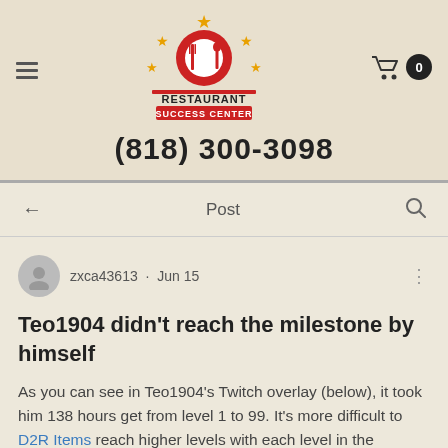[Figure (logo): Restaurant Success Center logo with fork, spoon, and stars]
(818) 300-3098
Post
zxca43613 · Jun 15
Teo1904 didn't reach the milestone by himself
As you can see in Teo1904's Twitch overlay (below), it took him 138 hours get from level 1 to 99. It's more difficult to D2R Items reach higher levels with each level in the process of completing the final level needed to get to 99 took more than one